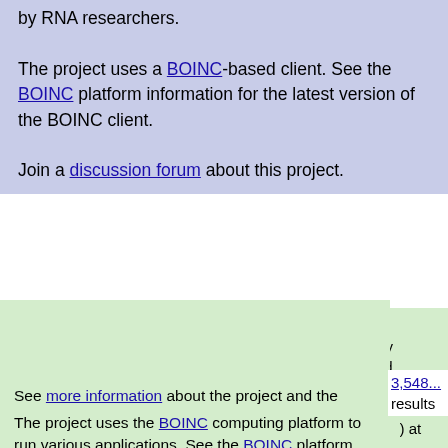by RNA researchers.
The project uses a BOINC-based client. See the BOINC platform information for the latest version of the BOINC client.
Join a discussion forum about this project.
[Figure (logo): Drug Search for Leishmaniasis project logo - green circuit board chip with a leaf/teardrop shape]
[Figure (logo): World Community Grid logo with blue wave lines and text]
Help Drug Search for Leishmaniasis, a project by World Community Grid and scientists in PECET (the Program for the Study and Control of Tropical Diseases) at the University of Antioquia in Colombia, find potential drugs to treat Leishmaniasis, a tropical disease which affects over 2 million people, in 97 countries, each year. See more information about the project and the project's FAQ.
3,548... results
The project uses the BOINC computing platform to run various applications. See the BOINC platform information for the latest version of the BOINC client. If